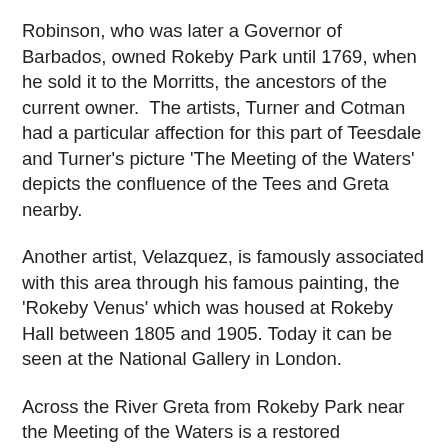Robinson, who was later a Governor of Barbados, owned Rokeby Park until 1769, when he sold it to the Morritts, the ancestors of the current owner.  The artists, Turner and Cotman had a particular affection for this part of Teesdale and Turner's picture 'The Meeting of the Waters' depicts the confluence of the Tees and Greta nearby.
Another artist, Velazquez, is famously associated with this area through his famous painting, the 'Rokeby Venus' which was housed at Rokeby Hall between 1805 and 1905. Today it can be seen at the National Gallery in London.
Across the River Greta from Rokeby Park near the Meeting of the Waters is a restored  fourteenth century pele tower called Mortham Tower which is a private residence. It is a reminder that Teesdale was once part of the Border Country.
Rokeby Park and its hall is open to the public on assigned days and is entered by a gateway near the north west corner of the